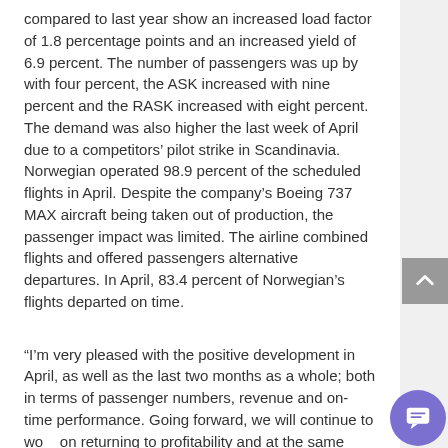compared to last year show an increased load factor of 1.8 percentage points and an increased yield of 6.9 percent. The number of passengers was up by with four percent, the ASK increased with nine percent and the RASK increased with eight percent. The demand was also higher the last week of April due to a competitors' pilot strike in Scandinavia.
Norwegian operated 98.9 percent of the scheduled flights in April. Despite the company's Boeing 737 MAX aircraft being taken out of production, the passenger impact was limited. The airline combined flights and offered passengers alternative departures. In April, 83.4 percent of Norwegian's flights departed on time.
“I'm very pleased with the positive development in April, as well as the last two months as a whole; both in terms of passenger numbers, revenue and on-time performance. Going forward, we will continue to work on returning to profitability and at the same time offer